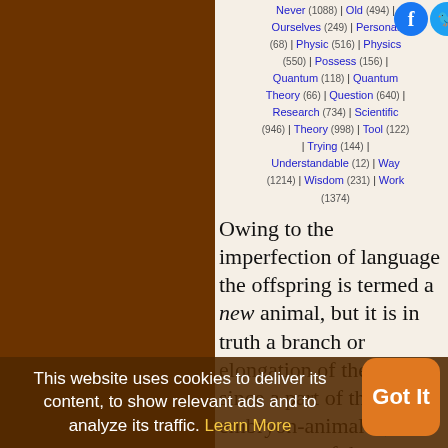Never (1088) | Old (494) | Ourselves (249) | Personal (68) | Physic (516) | Physics (550) | Possess (156) | Quantum (118) | Quantum Theory (66) | Question (640) | Research (734) | Scientific (946) | Theory (998) | Tool (122) | Trying (144) | Understandable (12) | Way (1214) | Wisdom (231) | Work (1374)
Owing to the imperfection of language the offspring is termed a new animal, but it is in truth a branch or elongation of the parent; since a part of the embryon-animal is, or was, a part of the parent; and therefore in strict language it cannot
This website uses cookies to deliver its content, to show relevant ads and to analyze its traffic. Learn More